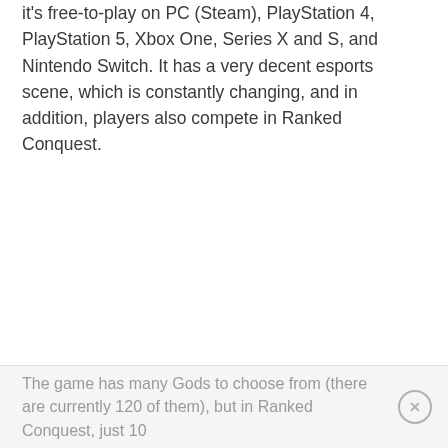it's free-to-play on PC (Steam), PlayStation 4, PlayStation 5, Xbox One, Series X and S, and Nintendo Switch. It has a very decent esports scene, which is constantly changing, and in addition, players also compete in Ranked Conquest.
The game has many Gods to choose from (there are currently 120 of them), but in Ranked Conquest, just 10...